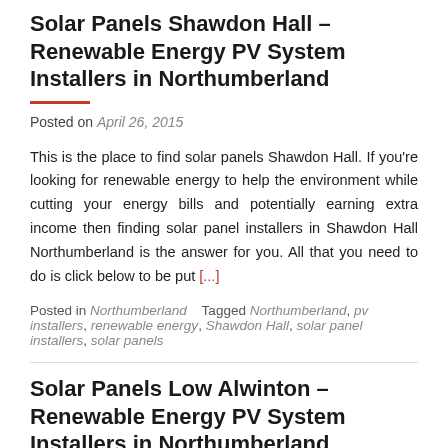Solar Panels Shawdon Hall – Renewable Energy PV System Installers in Northumberland
Posted on April 26, 2015
This is the place to find solar panels Shawdon Hall. If you're looking for renewable energy to help the environment while cutting your energy bills and potentially earning extra income then finding solar panel installers in Shawdon Hall Northumberland is the answer for you. All that you need to do is click below to be put [...]
Posted in Northumberland   Tagged Northumberland, pv installers, renewable energy, Shawdon Hall, solar panel installers, solar panels
Solar Panels Low Alwinton – Renewable Energy PV System Installers in Northumberland